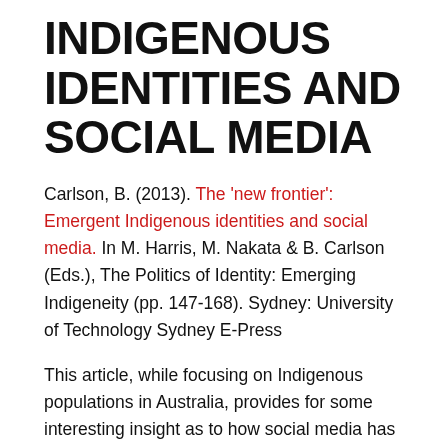INDIGENOUS IDENTITIES AND SOCIAL MEDIA
Carlson, B. (2013). The 'new frontier': Emergent Indigenous identities and social media. In M. Harris, M. Nakata & B. Carlson (Eds.), The Politics of Identity: Emerging Indigeneity (pp. 147-168). Sydney: University of Technology Sydney E-Press
This article, while focusing on Indigenous populations in Australia, provides for some interesting insight as to how social media has given rise to significant cultural and social interaction among Aboriginal people and groups. By way of a content analysis, this article contends that popular